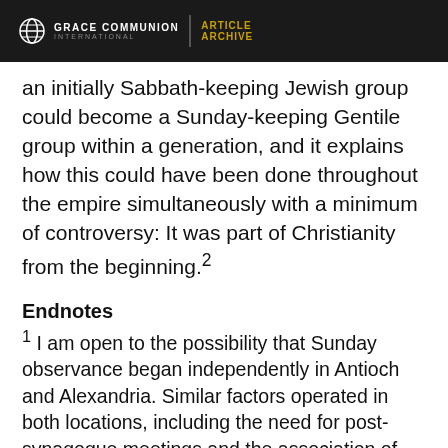GRACE COMMUNION INTERNATIONAL | ARTICLE ARCHIVE
an initially Sabbath-keeping Jewish group could become a Sunday-keeping Gentile group within a generation, and it explains how this could have been done throughout the empire simultaneously with a minimum of controversy: It was part of Christianity from the beginning.²
Endnotes
¹ I am open to the possibility that Sunday observance began independently in Antioch and Alexandria. Similar factors operated in both locations, including the need for post-synagogue meetings and the association of the first day with Christ's resurrection, permitting